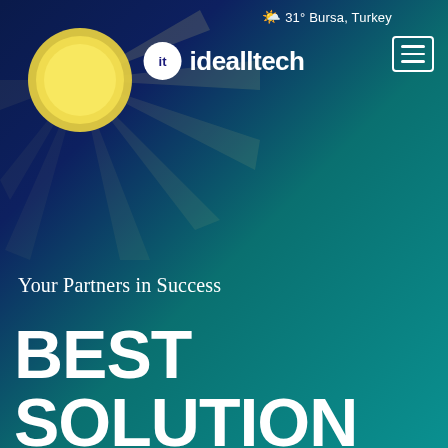[Figure (illustration): Dark blue to teal gradient background with a yellow sun with rays in the upper left corner]
31° Bursa, Turkey
[Figure (logo): idealltech logo: white circle with 'it' text in dark blue, followed by 'idealltech' in white bold text]
Your Partners in Success
BEST SOLUTION FOR YOUR